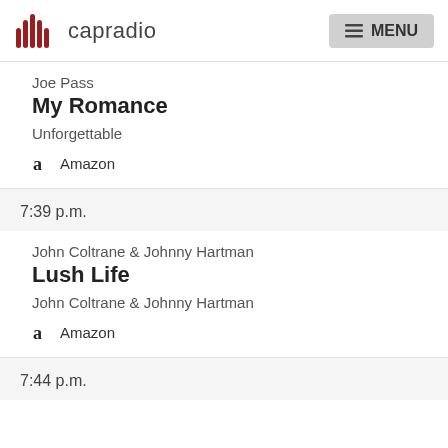capradio  MENU
Joe Pass
My Romance
Unforgettable
Amazon
7:39 p.m.
John Coltrane & Johnny Hartman
Lush Life
John Coltrane & Johnny Hartman
Amazon
7:44 p.m.